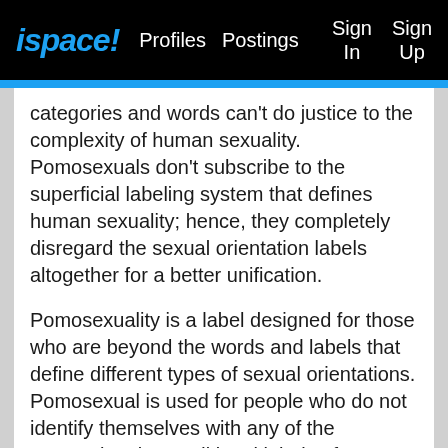ispace! Profiles Postings Sign In Sign Up
categories and words can't do justice to the complexity of human sexuality. Pomosexuals don't subscribe to the superficial labeling system that defines human sexuality; hence, they completely disregard the sexual orientation labels altogether for a better unification.
Pomosexuality is a label designed for those who are beyond the words and labels that define different types of sexual orientations. Pomosexual is used for people who do not identify themselves with any of the conventional or traditional labels of sexuality as they do not want their sexual orientation to be identified by any label established by